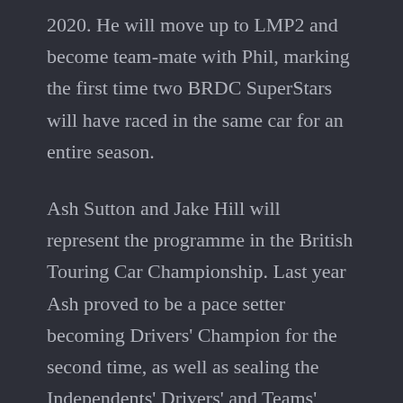2020. He will move up to LMP2 and become team-mate with Phil, marking the first time two BRDC SuperStars will have raced in the same car for an entire season.
Ash Sutton and Jake Hill will represent the programme in the British Touring Car Championship. Last year Ash proved to be a pace setter becoming Drivers' Champion for the second time, as well as sealing the Independents' Drivers' and Teams' titles in the process, all while moving to Laser Tools Racing, with whom he will continue this year. Jake scored six podiums during a challenging 2020 season beset by technical woes